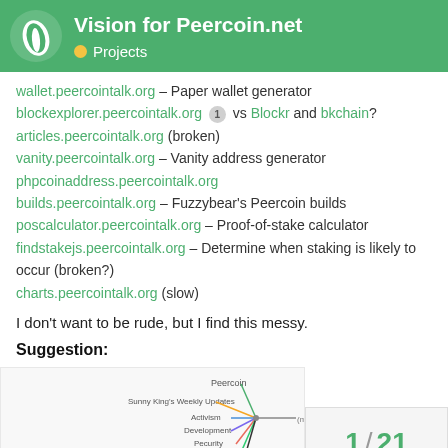Vision for Peercoin.net — Projects
wallet.peercointalk.org – Paper wallet generator
blockexplorer.peercointalk.org 1 vs Blockr and bkchain?
articles.peercointalk.org (broken)
vanity.peercointalk.org – Vanity address generator
phpcoinaddress.peercointalk.org
builds.peercointalk.org – Fuzzybear's Peercoin builds
poscalculator.peercointalk.org – Proof-of-stake calculator
findstakejs.peercointalk.org – Determine when staking is likely to occur (broken?)
charts.peercointalk.org (slow)
I don't want to be rude, but I find this messy.
Suggestion:
[Figure (other): Mind map diagram showing Peercoin node structure with branches: Sunny King's Weekly Updates, Activism, Development, Security, Peerbox, Peersherest]
1 / 21